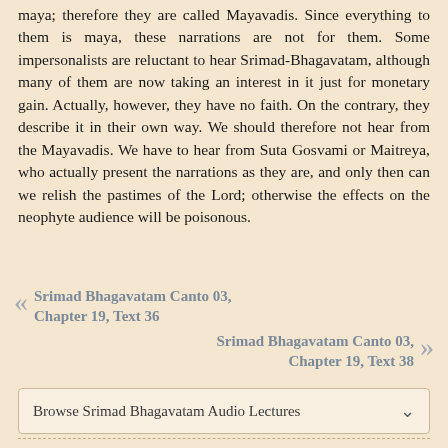maya; therefore they are called Mayavadis. Since everything to them is maya, these narrations are not for them. Some impersonalists are reluctant to hear Srimad-Bhagavatam, although many of them are now taking an interest in it just for monetary gain. Actually, however, they have no faith. On the contrary, they describe it in their own way. We should therefore not hear from the Mayavadis. We have to hear from Suta Gosvami or Maitreya, who actually present the narrations as they are, and only then can we relish the pastimes of the Lord; otherwise the effects on the neophyte audience will be poisonous.
« Srimad Bhagavatam Canto 03, Chapter 19, Text 36
Srimad Bhagavatam Canto 03, Chapter 19, Text 38 »
Browse Srimad Bhagavatam Audio Lectures